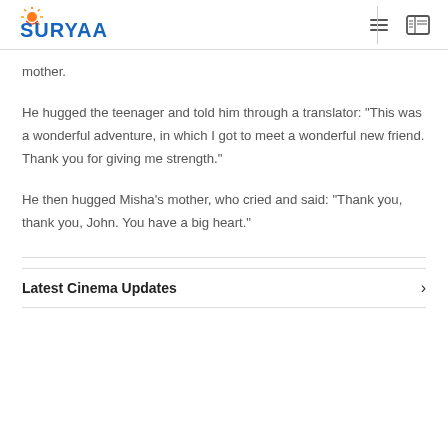SURYAA
mother.
He hugged the teenager and told him through a translator: "This was a wonderful adventure, in which I got to meet a wonderful new friend. Thank you for giving me strength."
He then hugged Misha's mother, who cried and said: "Thank you, thank you, John. You have a big heart."
Latest Cinema Updates